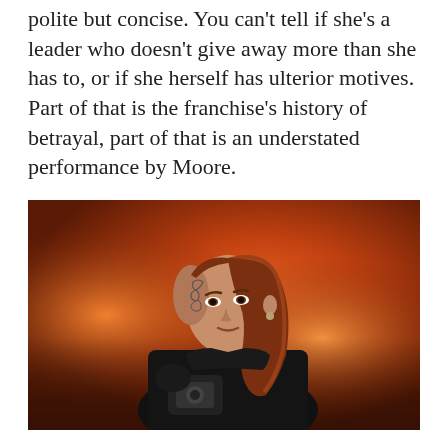polite but concise. You can't tell if she's a leader who doesn't give away more than she has to, or if she herself has ulterior motives. Part of that is the franchise's history of betrayal, part of that is an understated performance by Moore.
[Figure (photo): A woman with long auburn hair and a shaved side with tattoos on her head, wearing black clothing, holding a camera, with a fiery orange background — appears to be a movie still from The Hunger Games featuring the character Cressida.]
One of my favorite new characters of the year is Cressida, the director assigned to produce the recruitment ads starring Katniss. See, I'm a sucker for directors on film. If you've ever